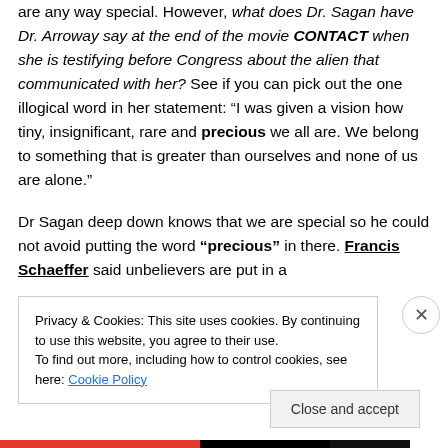are any way special. However, what does Dr. Sagan have Dr. Arroway say at the end of the movie CONTACT when she is testifying before Congress about the alien that communicated with her? See if you can pick out the one illogical word in her statement: “I was given a vision how tiny, insignificant, rare and precious we all are. We belong to something that is greater than ourselves and none of us are alone.”
Dr Sagan deep down knows that we are special so he could not avoid putting the word “precious” in there. Francis Schaeffer said unbelievers are put in a
Privacy & Cookies: This site uses cookies. By continuing to use this website, you agree to their use.
To find out more, including how to control cookies, see here: Cookie Policy